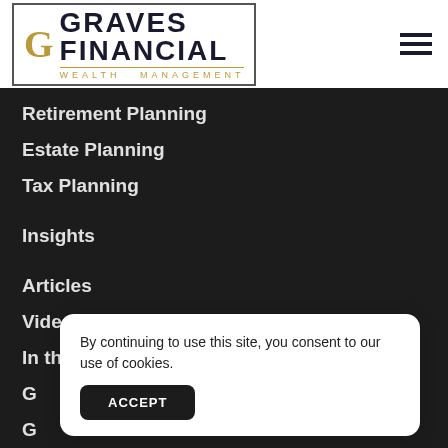[Figure (logo): Graves Financial Wealth Management logo with gold G emblem and dark text inside a rectangular border]
Retirement Planning
Estate Planning
Tax Planning
Insights
Articles
Videos
In the News
By continuing to use this site, you consent to our use of cookies.
ACCEPT